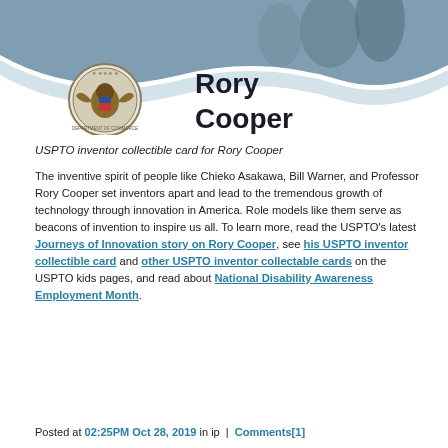[Figure (illustration): USPTO inventor collectible card header image for Rory Cooper, featuring a photo of people in the background with a wave graphic, the USPTO seal/logo on the left, and the text 'Rory Cooper' in bold on the right.]
USPTO inventor collectible card for Rory Cooper
The inventive spirit of people like Chieko Asakawa, Bill Warner, and Professor Rory Cooper set inventors apart and lead to the tremendous growth of technology through innovation in America. Role models like them serve as beacons of invention to inspire us all. To learn more, read the USPTO’s latest Journeys of Innovation story on Rory Cooper, see his USPTO inventor collectible card and other USPTO inventor collectable cards on the USPTO kids pages, and read about National Disability Awareness Employment Month.
Posted at 02:25PM Oct 28, 2019 in ip  |  Comments[1]